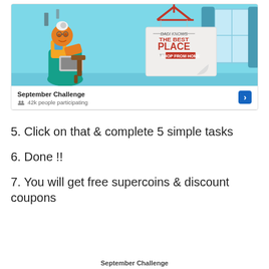[Figure (screenshot): Screenshot of a mobile app card showing an advertisement image with an animated grandmother sitting on a chair using a laptop, with a hanging sign reading 'DADI KNOWS THE BEST PLACE TO SHOP FROM HOME'. Card shows title 'September Challenge', '42k people participating', and a blue arrow button.]
5. Click on that & complete 5 simple tasks
6. Done !!
7. You will get free supercoins & discount coupons
September Challenge